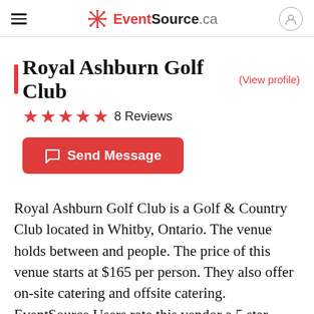EventSource.ca
Royal Ashburn Golf Club (View profile)
★★★★★ 8 Reviews
Send Message
Royal Ashburn Golf Club is a Golf & Country Club located in Whitby, Ontario. The venue holds between and people. The price of this venue starts at $165 per person. They also offer on-site catering and offsite catering. EventSource Users rate this vendor a 5 star rating out of 5. Browse their 3 blog posts.
Most recent review